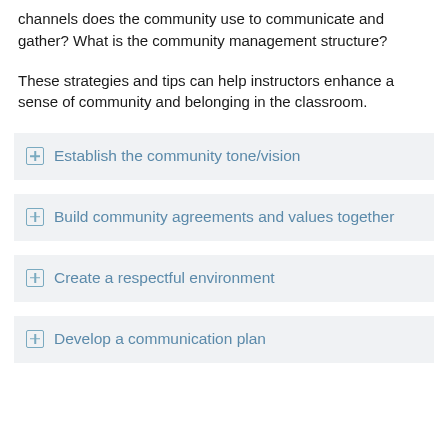channels does the community use to communicate and gather? What is the community management structure?
These strategies and tips can help instructors enhance a sense of community and belonging in the classroom.
Establish the community tone/vision
Build community agreements and values together
Create a respectful environment
Develop a communication plan